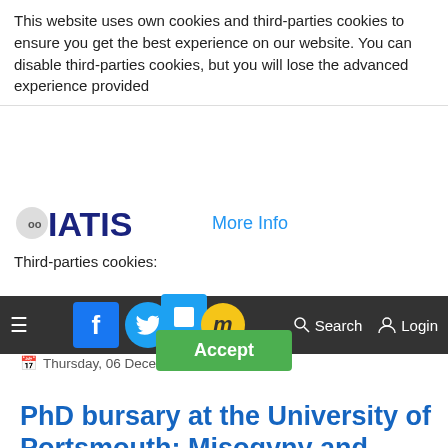This website uses own cookies and third-parties cookies to ensure you get the best experience on our website. You can disable third-parties cookies, but you will lose the advanced experience provided
[Figure (logo): IATIS logo with text 'IATIS' in dark blue bold letters]
More Info
Third-parties cookies:
Accept
≡  [Facebook] [Twitter] [Square] [m]  Search  Login
Thursday, 06 December 2018 10:02
PhD bursary at the University of Portsmouth: Misogyny and homophobia in online amateur translation communities
Joseph Lambert
Applications are invited for a fully-funded three year PhD to commence in October 2019.